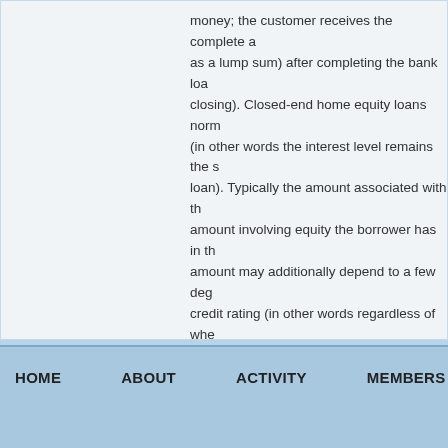money; the customer receives the complete a as a lump sum) after completing the bank loan closing). Closed-end home equity loans norm (in other words the interest level remains the s loan). Typically the amount associated with th amount involving equity the borrower has in th amount may additionally depend to a few deg credit rating (in other words regardless of whe confirmed record of paying out off debts insid instances a borrower is definitely able to lend the girl has in a house. When experts in these mortgage loans they can be typically mention equity loans.
HOME   ABOUT   ACTIVITY   MEMBERS   ANIMATIONS   ANDROID &